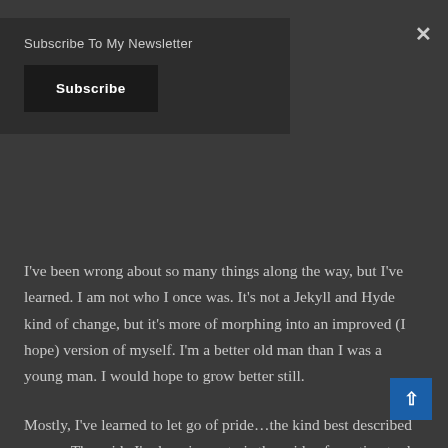Subscribe To My Newsletter
Subscribe
×
I've been wrong about so many things along the way, but I've learned. I am not who I once was. It's not a Jekyll and Hyde kind of change, but it's more of morphing into an improved (I hope) version of myself. I'm a better old man than I was a young man. I would hope to grow better still.
Mostly, I've learned to let go of pride…the kind best described as ego. The pride I'm hanging onto is the pride of wanting to do better. The desire to improve and forge new ground in accomplishment. The pride of knowing I'm giving good effort toward accomplishment. The pride of getting better. But a s melting away, which wasn't easy as a younger man. Young